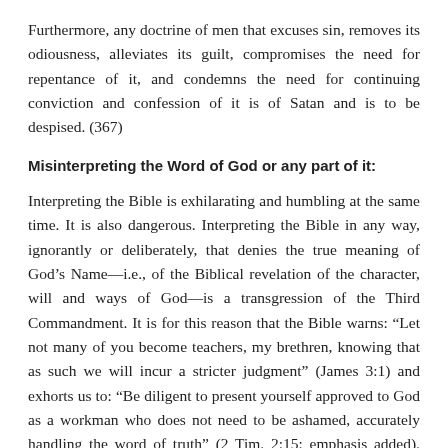Furthermore, any doctrine of men that excuses sin, removes its odiousness, alleviates its guilt, compromises the need for repentance of it, and condemns the need for continuing conviction and confession of it is of Satan and is to be despised. (367)
Misinterpreting the Word of God or any part of it:
Interpreting the Bible is exhilarating and humbling at the same time. It is also dangerous. Interpreting the Bible in any way, ignorantly or deliberately, that denies the true meaning of God’s Name—i.e., of the Biblical revelation of the character, will and ways of God—is a transgression of the Third Commandment. It is for this reason that the Bible warns: “Let not many of you become teachers, my brethren, knowing that as such we will incur a stricter judgment” (James 3:1) and exhorts us to: “Be diligent to present yourself approved to God as a workman who does not need to be ashamed, accurately handling the word of truth” (2 Tim. 2:15; emphasis added). “The man who handles the word of the truth properly does not
change, pervert, mutilate, or distort it, neither does he use it with